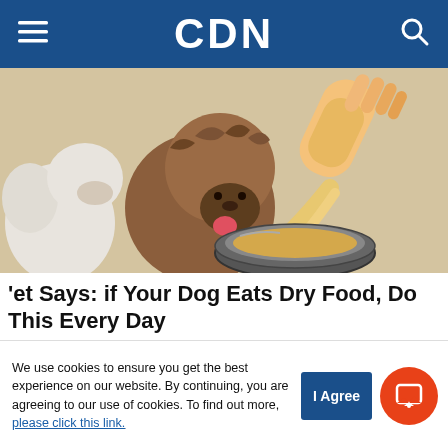CDN
[Figure (illustration): Illustrated image of two dogs (one white and one brown/shaggy) watching a hand pour liquid from a glass bottle into a metal dog bowl]
'et Says: if Your Dog Eats Dry Food, Do This Every Day
Marty | Nature's Blend | Sponsored
We use cookies to ensure you get the best experience on our website. By continuing, you are agreeing to our use of cookies. To find out more, please click this link.